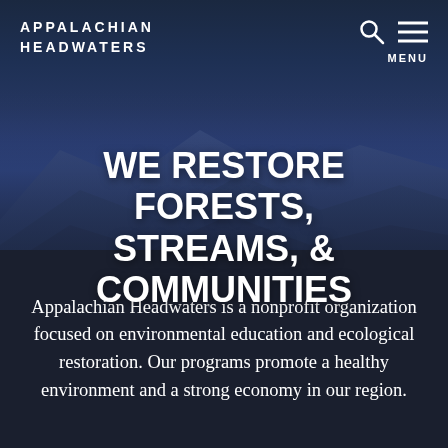APPALACHIAN HEADWATERS
WE RESTORE FORESTS, STREAMS, & COMMUNITIES
Appalachian Headwaters is a nonprofit organization focused on environmental education and ecological restoration. Our programs promote a healthy environment and a strong economy in our region.